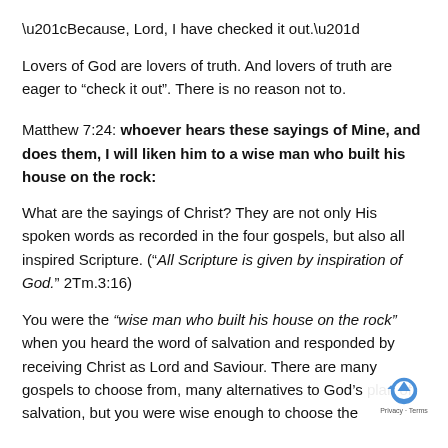“Because, Lord, I have checked it out.”
Lovers of God are lovers of truth. And lovers of truth are eager to “check it out”. There is no reason not to.
Matthew 7:24: whoever hears these sayings of Mine, and does them, I will liken him to a wise man who built his house on the rock:
What are the sayings of Christ? They are not only His spoken words as recorded in the four gospels, but also all inspired Scripture. (“All Scripture is given by inspiration of God.” 2Tm.3:16)
You were the “wise man who built his house on the rock” when you heard the word of salvation and responded by receiving Christ as Lord and Saviour. There are many gospels to choose from, many alternatives to God’s plan of salvation, but you were wise enough to choose the ...